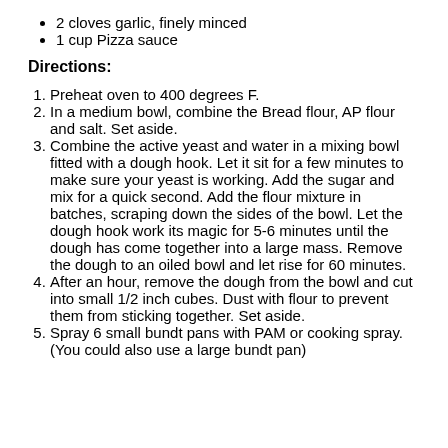2 cloves garlic, finely minced
1 cup Pizza sauce
Directions:
Preheat oven to 400 degrees F.
In a medium bowl, combine the Bread flour, AP flour and salt. Set aside.
Combine the active yeast and water in a mixing bowl fitted with a dough hook. Let it sit for a few minutes to make sure your yeast is working. Add the sugar and mix for a quick second. Add the flour mixture in batches, scraping down the sides of the bowl. Let the dough hook work its magic for 5-6 minutes until the dough has come together into a large mass. Remove the dough to an oiled bowl and let rise for 60 minutes.
After an hour, remove the dough from the bowl and cut into small 1/2 inch cubes. Dust with flour to prevent them from sticking together. Set aside.
Spray 6 small bundt pans with PAM or cooking spray. (You could also use a large bundt pan)